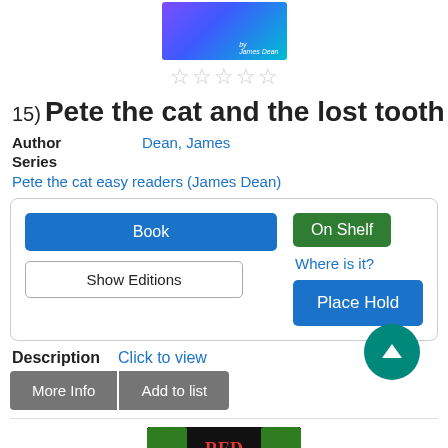[Figure (illustration): Top portion of a book cover with blue/purple gradient background and white text, by James Dean]
★★★★★ (empty stars rating)
15) Pete the cat and the lost tooth
Author  Dean, James
Series
Pete the cat easy readers (James Dean)
Book | On Shelf | Show Editions | Where is it? | Place Hold
Description  Click to view
More Info  Add to list
[Figure (illustration): Bottom portion of next book cover showing Red Riding in dark forest style]